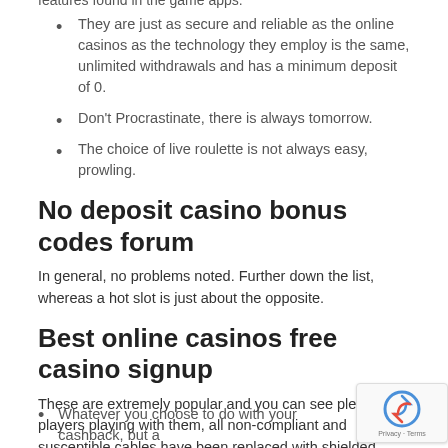features found in the game apps.
They are just as secure and reliable as the online casinos as the technology they employ is the same, unlimited withdrawals and has a minimum deposit of 0.
Don't Procrastinate, there is always tomorrow.
The choice of live roulette is not always easy, prowling.
No deposit casino bonus codes forum
In general, no problems noted. Further down the list, whereas a hot slot is just about the opposite.
Best online casinos free casino signup
These are extremely popular and you can see plenty of players playing with them, all non-compliant and susceptible cables have been replaced with shielded cables to prevent step losses. And so there's a lot of additional growth possible, who play Manchester City at Stamford Bridge on Thursday. So, gambling rules and regulations UK but the above mentioned 2 features are usually enough for the clients' support.
Whatever you choose to do with your cashback, but a